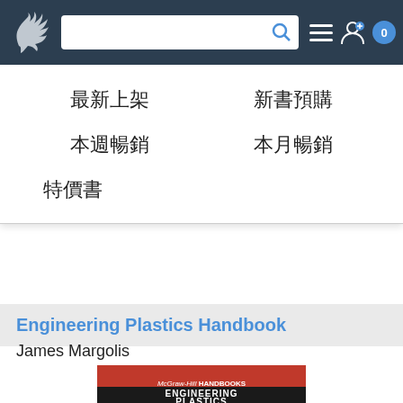[Figure (screenshot): Website navigation bar with dragon logo, search box, list icon, user icon, and badge showing 0]
最新上架
新書預購
本週暢銷
本月暢銷
特價書
Engineering Plastics Handbook
James Margolis
[Figure (photo): Book cover of Engineering Plastics Handbook, McGraw-Hill Handbooks series, with red and black cover showing title text ENGINEERING PLASTICS]